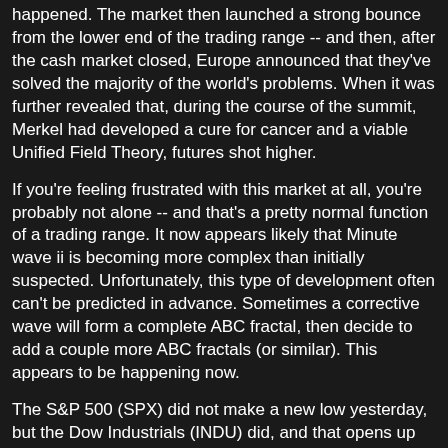happened.  The market then launched a strong bounce from the lower end of the trading range -- and then, after the cash market closed, Europe announced that they've solved the majority of the world's problems.  When it was further revealed that, during the course of the summit, Merkel had developed a cure for cancer and a viable Unified Field Theory, futures shot higher.
If you're feeling frustrated with this market at all, you're probably not alone -- and that's a pretty normal function of a trading range.  It now appears likely that Minute wave ii is becoming more complex than initially suspected.  Unfortunately, this type of development often can't be predicted in advance.  Sometimes a corrective wave will form a complete ABC fractal, then decide to add a couple more ABC fractals (or similar).  This appears to be happening now.
The S&P 500 (SPX) did not make a new low yesterday, but the Dow Industrials (INDU) did, and that opens up the potential of an expanded flat developing in INDU.  The typical target for such a wave is 12720-12775.